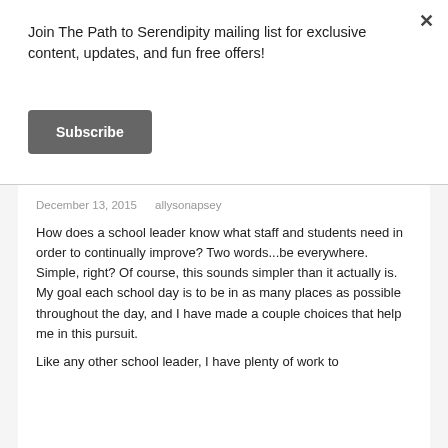Join The Path to Serendipity mailing list for exclusive content, updates, and fun free offers!
Subscribe
December 13, 2015   allysonapsey
How does a school leader know what staff and students need in order to continually improve?  Two words...be everywhere. Simple, right? Of course, this sounds simpler than it actually is. My goal each school day is to be in as many places as possible throughout the day, and I have made a couple choices that help me in this pursuit.
Like any other school leader, I have plenty of work to